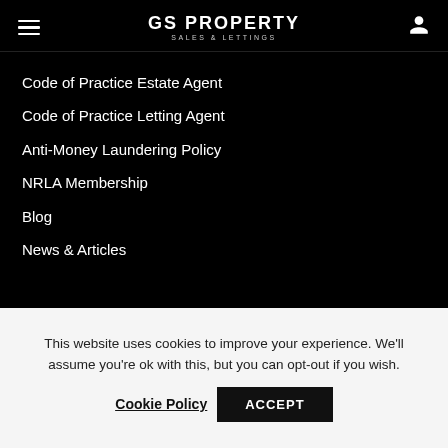GS PROPERTY SALES & LETTINGS
Code of Practice Estate Agent
Code of Practice Letting Agent
Anti-Money Laundering Policy
NRLA Membership
Blog
News & Articles
Contact Us
11 St Pauls Square, Birmingham, West Midlands, B3 1RB
0121 318 1441
This website uses cookies to improve your experience. We'll assume you're ok with this, but you can opt-out if you wish.
Cookie Policy  ACCEPT